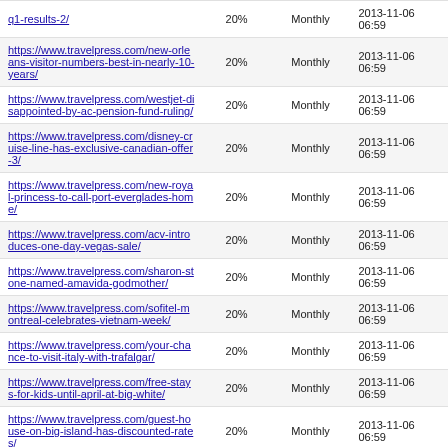| URL | Priority | Change Frequency | Last Modified |
| --- | --- | --- | --- |
| q1-results-2/ | 20% | Monthly | 2013-11-06 06:59 |
| https://www.travelpress.com/new-orleans-visitor-numbers-best-in-nearly-10-years/ | 20% | Monthly | 2013-11-06 06:59 |
| https://www.travelpress.com/westjet-disappointed-by-ac-pension-fund-ruling/ | 20% | Monthly | 2013-11-06 06:59 |
| https://www.travelpress.com/disney-cruise-line-has-exclusive-canadian-offer-3/ | 20% | Monthly | 2013-11-06 06:59 |
| https://www.travelpress.com/new-royal-princess-to-call-port-everglades-home/ | 20% | Monthly | 2013-11-06 06:59 |
| https://www.travelpress.com/acv-introduces-one-day-vegas-sale/ | 20% | Monthly | 2013-11-06 06:59 |
| https://www.travelpress.com/sharon-stone-named-amavida-godmother/ | 20% | Monthly | 2013-11-06 06:59 |
| https://www.travelpress.com/sofitel-montreal-celebrates-vietnam-week/ | 20% | Monthly | 2013-11-06 06:59 |
| https://www.travelpress.com/your-chance-to-visit-italy-with-trafalgar/ | 20% | Monthly | 2013-11-06 06:59 |
| https://www.travelpress.com/free-stays-for-kids-until-april-at-big-white/ | 20% | Monthly | 2013-11-06 06:59 |
| https://www.travelpress.com/guest-house-on-big-island-has-discounted-rates/ | 20% | Monthly | 2013-11-06 06:59 |
| https://www.travelpress.com/travelport-aa-put-together-new-deal/ | 20% | Monthly | 2013-11-06 06:59 |
| https://www.travelpress.com/ac-extends-pension-fund-arrangements/ | 20% | Monthly | 2013-11-06 06:59 |